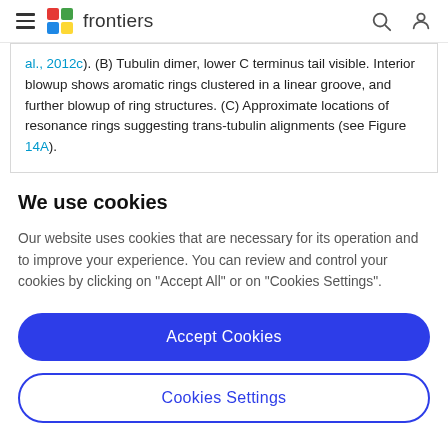frontiers
al., 2012c). (B) Tubulin dimer, lower C terminus tail visible. Interior blowup shows aromatic rings clustered in a linear groove, and further blowup of ring structures. (C) Approximate locations of resonance rings suggesting trans-tubulin alignments (see Figure 14A).
We use cookies
Our website uses cookies that are necessary for its operation and to improve your experience. You can review and control your cookies by clicking on "Accept All" or on "Cookies Settings".
Accept Cookies
Cookies Settings